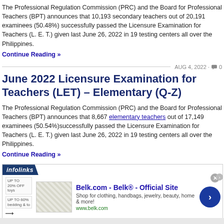The Professional Regulation Commission (PRC) and the Board for Professional Teachers (BPT) announces that 10,193 secondary teachers out of 20,191 examinees (50.48%) successfully passed the Licensure Examination for Teachers (L. E. T.) given last June 26, 2022 in 19 testing centers all over the Philippines.
Continue Reading »
AUG 4, 2022 · 💬 0
June 2022 Licensure Examination for Teachers (LET) – Elementary (Q-Z)
The Professional Regulation Commission (PRC) and the Board for Professional Teachers (BPT) announces that 8,667 elementary teachers out of 17,149 examinees (50.54%)successfully passed the Licensure Examination for Teachers (L. E. T.) given last June 26, 2022 in 19 testing centers all over the Philippines.
Continue Reading »
[Figure (screenshot): Infolinks advertisement banner for Belk.com showing 'Belk® - Official Site' with tagline 'Shop for clothing, handbags, jewelry, beauty, home & more!' and url www.belk.com]